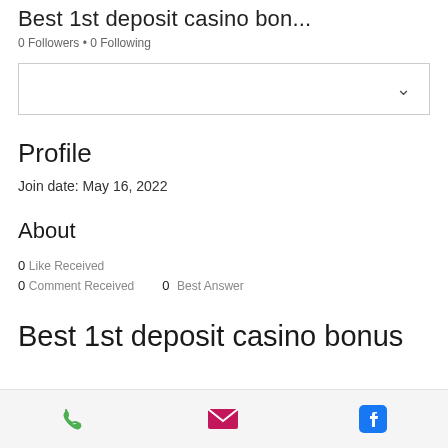Best 1st deposit casino bon...
0 Followers • 0 Following
[Figure (other): Dropdown/select box with chevron arrow]
Profile
Join date: May 16, 2022
About
0 Like Received
0 Comment Received    0 Best Answer
Best 1st deposit casino bonus
[Figure (other): Footer bar with phone (green), email (pink/magenta), and Facebook (blue) icons]